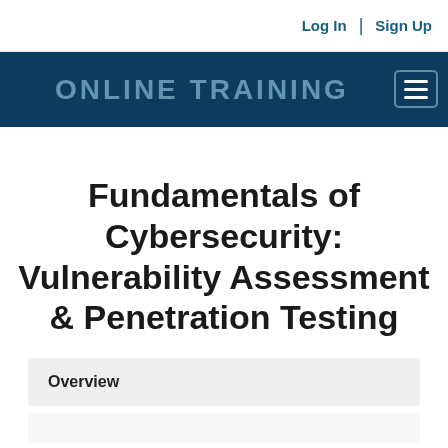Log In | Sign Up
ONLINE TRAINING
Fundamentals of Cybersecurity: Vulnerability Assessment & Penetration Testing
Overview